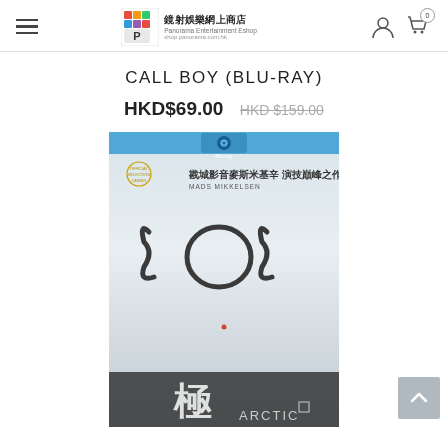panorama Entertainment Eshop — shop.panorama.com.hk
CALL BOY (BLU-RAY)
HKD$69.00  HKD$159.00
[Figure (photo): Blu-ray disc cover for Arctic (極地求生), featuring 'SOS' written in snow, with Chinese text '戡城影音麥斯米基辛 演技巔峰之作 / MADS MIKKELSEN' and Cannes Official Selection badge. Large 'SOS' letters visible on snowy surface. Bottom shows Chinese characters '極' and ARCTIC text.]